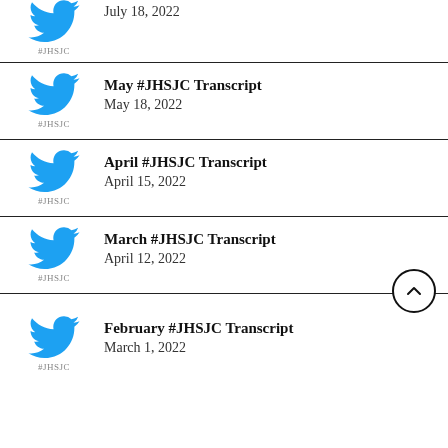July 18, 2022
May #JHSJC Transcript
May 18, 2022
April #JHSJC Transcript
April 15, 2022
March #JHSJC Transcript
April 12, 2022
February #JHSJC Transcript
March 1, 2022